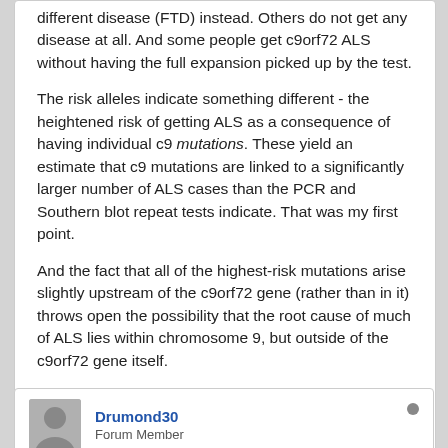different disease (FTD) instead. Others do not get any disease at all. And some people get c9orf72 ALS without having the full expansion picked up by the test.
The risk alleles indicate something different - the heightened risk of getting ALS as a consequence of having individual c9 mutations. These yield an estimate that c9 mutations are linked to a significantly larger number of ALS cases than the PCR and Southern blot repeat tests indicate. That was my first point.
And the fact that all of the highest-risk mutations arise slightly upstream of the c9orf72 gene (rather than in it) throws open the possibility that the root cause of much of ALS lies within chromosome 9, but outside of the c9orf72 gene itself.
I am not disputing anything as such, just wondering whether this kind of lateral thinking could help in coming up with a potential treatment.
Drumond30
Forum Member